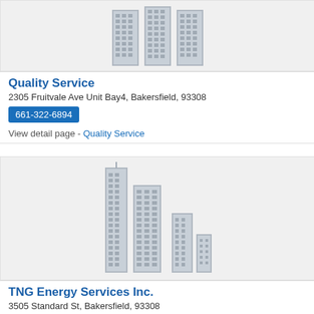[Figure (illustration): Generic business building icon placeholder image (top, partially visible)]
Quality Service
2305 Fruitvale Ave Unit Bay4, Bakersfield, 93308
661-322-6894
View detail page - Quality Service
[Figure (illustration): Generic business skyline/building icon placeholder image]
TNG Energy Services Inc.
3505 Standard St, Bakersfield, 93308
661-323-7031